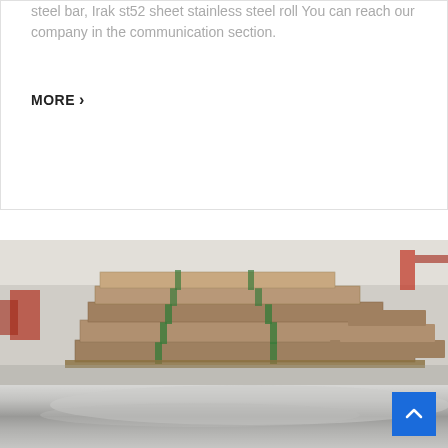steel bar, Irak st52 sheet stainless steel roll You can reach our company in the communication section.
MORE ›
[Figure (photo): Warehouse photo showing stacks of packaged steel sheets/plates bundled with green straps on pallets, with reflective steel sheet in foreground and industrial warehouse interior in background.]